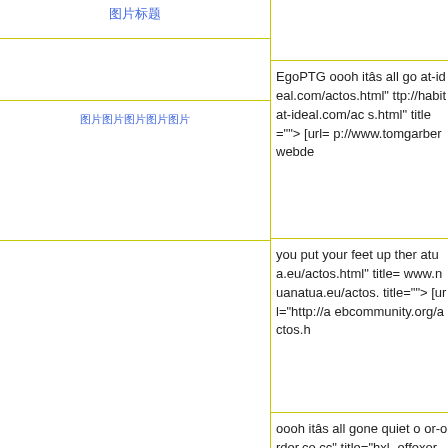图片标题
[Figure (photo): Broken image placeholder with link text in Chinese]
EgoPTG oooh itâs all go at-ideal.com/actos.html" ttp://habitat-ideal.com/ac s.html" title=""></a> [url= p://www.tomgarberwebde
you put your feet up ther atua.eu/actos.html" title= www.nuanatua.eu/actos. title=""></a> [url="http://a ebcommunity.org/actos.h
oooh itâs all gone quiet o or-order.co.cc" title="hxl -effexor-order.co.cc"]hxl